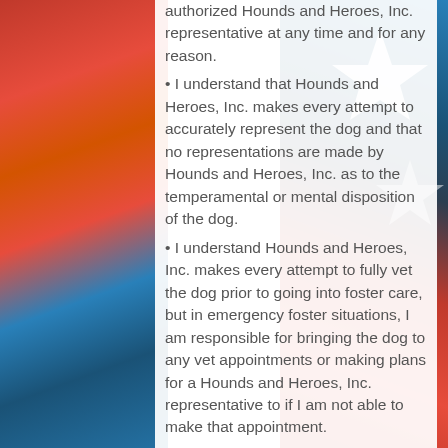authorized Hounds and Heroes, Inc. representative at any time and for any reason.
I understand that Hounds and Heroes, Inc. makes every attempt to accurately represent the dog and that no representations are made by Hounds and Heroes, Inc. as to the temperamental or mental disposition of the dog.
I understand Hounds and Heroes, Inc. makes every attempt to fully vet the dog prior to going into foster care, but in emergency foster situations, I am responsible for bringing the dog to any vet appointments or making plans for a Hounds and Heroes, Inc. representative to if I am not able to make that appointment.
I agree to foster the dog at my own risk, and indemnify and release